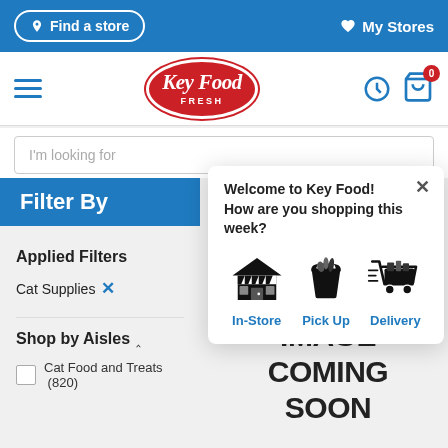[Figure (screenshot): Key Food Fresh grocery website screenshot showing navigation bar with Find a store button and My Stores link, hamburger menu, Key Food Fresh logo, search bar with 'I'm looking for' placeholder, Filter By panel, Applied Filters showing Cat Supplies, Shop by Aisles section with Cat Food and Treats (820) checkbox, a popup asking 'Welcome to Key Food! How are you shopping this week?' with In-Store, Pick Up, and Delivery options, and an IMAGE COMING SOON placeholder on the right.]